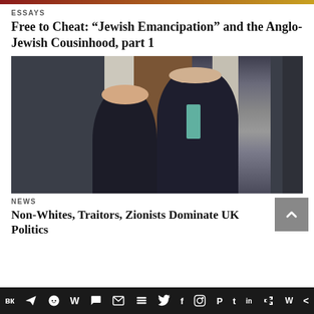ESSAYS
Free to Cheat: “Jewish Emancipation” and the Anglo-Jewish Cousinhood, part 1
[Figure (photo): Two people walking out of what appears to be 10 Downing Street: a woman in a black blazer with white blouse on the left, and a tall man in a dark suit with a teal tie on the right, appearing to be Boris Johnson.]
NEWS
Non-Whites, Traitors, Zionists Dominate UK Politics
Social sharing bar with icons: VK, Telegram, Reddit, WordPress, WhatsApp, Email, Buffer, Twitter, Facebook, Instagram, Pinterest, Tumblr, LinkedIn, Share, Wix, More